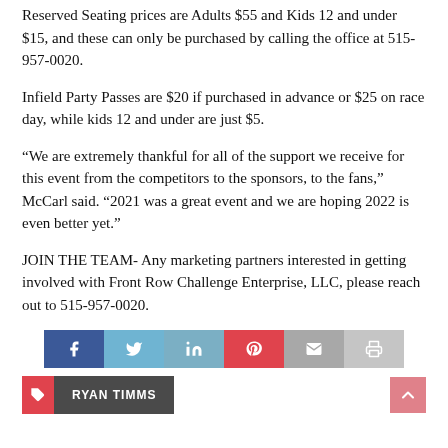Reserved Seating prices are Adults $55 and Kids 12 and under $15, and these can only be purchased by calling the office at 515-957-0020.
Infield Party Passes are $20 if purchased in advance or $25 on race day, while kids 12 and under are just $5.
“We are extremely thankful for all of the support we receive for this event from the competitors to the sponsors, to the fans,” McCarl said. “2021 was a great event and we are hoping 2022 is even better yet.”
JOIN THE TEAM- Any marketing partners interested in getting involved with Front Row Challenge Enterprise, LLC, please reach out to 515-957-0020.
[Figure (infographic): Social sharing buttons bar: Facebook (blue), Twitter (light blue), LinkedIn (light blue), Pinterest (red), Email (grey), Print (light grey)]
RYAN TIMMS